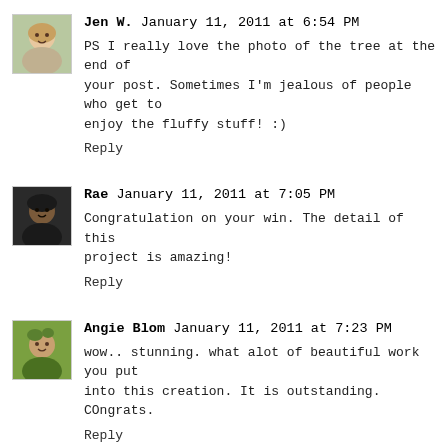Jen W. January 11, 2011 at 6:54 PM
PS I really love the photo of the tree at the end of your post. Sometimes I'm jealous of people who get to enjoy the fluffy stuff! :)
Reply
Rae January 11, 2011 at 7:05 PM
Congratulation on your win. The detail of this project is amazing!
Reply
Angie Blom January 11, 2011 at 7:23 PM
wow.. stunning. what alot of beautiful work you put into this creation. It is outstanding. COngrats.
Reply
Unknown January 11, 2011 at 7:34 PM